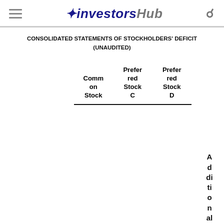investorsHub
CONSOLIDATED STATEMENTS OF STOCKHOLDERS' DEFICIT (UNAUDITED)
|  | Common on Stock | Preferred Stock C | Preferred Stock D | Additional... |
| --- | --- | --- | --- | --- |